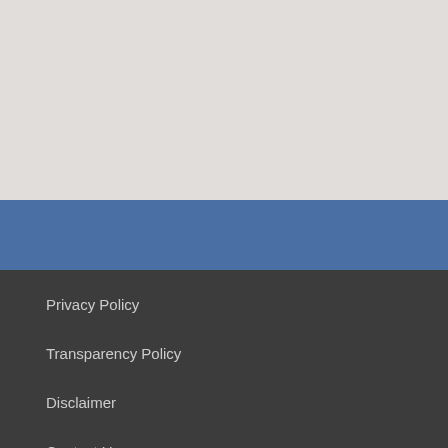[Figure (other): Light gray background band at top of page]
[Figure (other): Blue horizontal band below light gray section]
Privacy Policy
Transparency Policy
Disclaimer
Contact Us